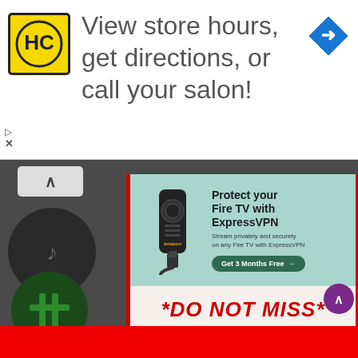[Figure (screenshot): Top advertisement banner with HC salon logo on yellow background, navigation arrow icon, text: View store hours, get directions, or call your salon!]
[Figure (screenshot): ExpressVPN advertisement banner showing Amazon Fire TV stick with text: Protect your Fire TV with ExpressVPN. Stream privately and securely on any Fire TV with ExpressVPN. Get 3 Months Free button.]
*DO NOT MISS*
Get 3 months EXTRA FREE on the BEST VPN for Streaming 2022
EXCLUSIVE